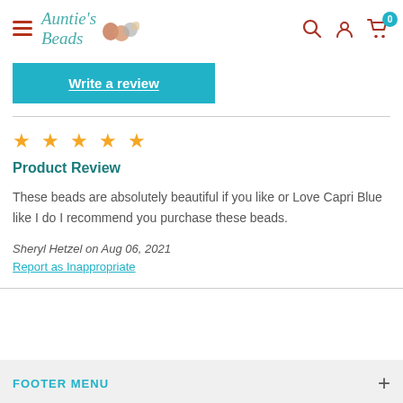Auntie's Beads
Write a review
★★★★★
Product Review
These beads are absolutely beautiful if you like or Love Capri Blue like I do I recommend you purchase these beads.
Sheryl Hetzel on Aug 06, 2021
Report as Inappropriate
FOOTER MENU